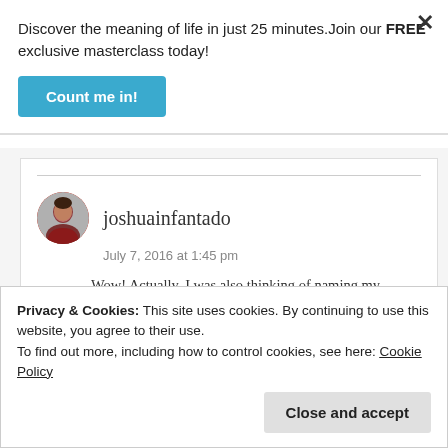Discover the meaning of life in just 25 minutes.Join our FREE exclusive masterclass today!
Count me in!
joshuainfantado
July 7, 2016 at 1:45 pm
Wow! Actually, I was also thinking of naming my firstborn son, Jephthah. 🙂
Privacy & Cookies: This site uses cookies. By continuing to use this website, you agree to their use.
To find out more, including how to control cookies, see here: Cookie Policy
Close and accept